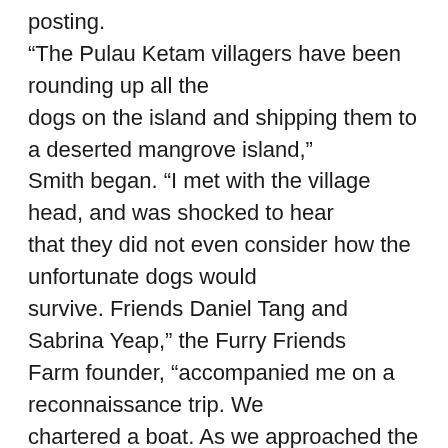posting. “The Pulau Ketam villagers have been rounding up all the dogs on the island and shipping them to a deserted mangrove island,” Smith began. “I met with the village head, and was shocked to hear that they did not even consider how the unfortunate dogs would survive. Friends Daniel Tang and Sabrina Yeap,” the Furry Friends Farm founder, “accompanied me on a reconnaissance trip. We chartered a boat. As we approached the island, I was thinking we would only see bones and carcasses. Poisonous snakes abound on the waterlogged island and the mud and sand will swallow